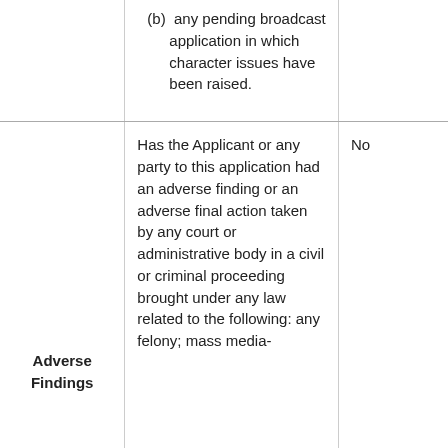|  | (b)  any pending broadcast application in which character issues have been raised. |  |
| Adverse Findings | Has the Applicant or any party to this application had an adverse finding or an adverse final action taken by any court or administrative body in a civil or criminal proceeding brought under any law related to the following: any felony; mass media- | No |